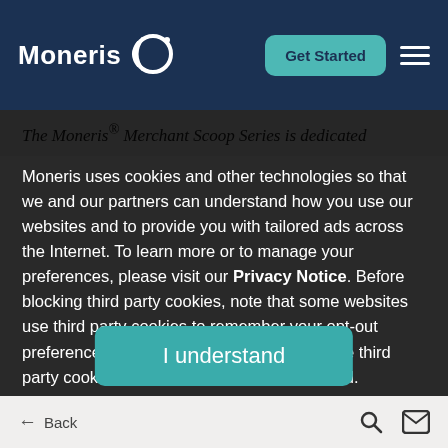Moneris — Navigation bar with Get Started button and menu
The Moneris® Merchant Scoop Series is dedicated
Moneris uses cookies and other technologies so that we and our partners can understand how you use our websites and to provide you with tailored ads across the Internet. To learn more or to manage your preferences, please visit our Privacy Notice. Before blocking third party cookies, note that some websites use third party cookies to remember your opt-out preferences and that you may need to enable third party cookies for your opt-outs to be captured.
I understand